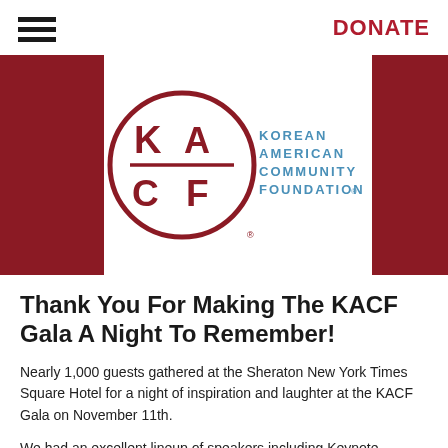DONATE
[Figure (logo): KACF Korean American Community Foundation logo — circular dark red logo with letters KA/CF and text 'KOREAN AMERICAN COMMUNITY FOUNDATION ®' to the right]
Thank You For Making The KACF Gala A Night To Remember!
Nearly 1,000 guests gathered at the Sheraton New York Times Square Hotel for a night of inspiration and laughter at the KACF Gala on November 11th.
We had an excellent lineup of speakers including Keynote Speaker H.E. Mr. Ban Ki-moon, Secretary-General of the